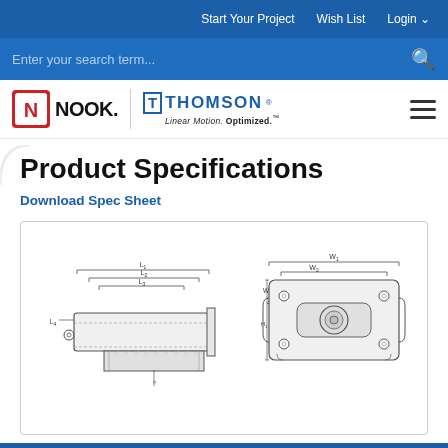Start Your Project   Wish List   Login
[Figure (logo): Nook Industries and Thomson Linear Motion Optimized logos with navigation search bar]
Product Specifications
Download Spec Sheet
[Figure (engineering-diagram): Two engineering technical drawings: left shows a side/cross-section view of a linear actuator with dimension annotations L1, L2, L3, L4; right shows a front/top view of a mounting block/carriage with dimension annotations W, W1, W2, H1, 4-M]